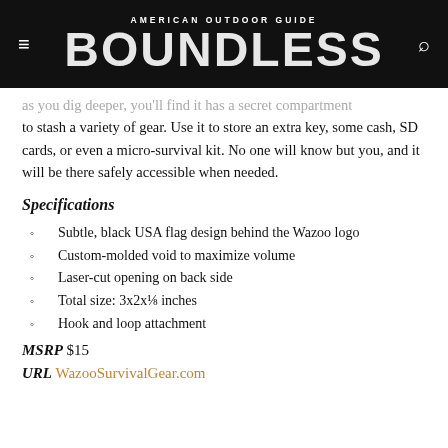AMERICAN OUTDOOR GUIDE BOUNDLESS
as you dig deeper, you'll find it has a secret compartment to stash a variety of gear. Use it to store an extra key, some cash, SD cards, or even a micro-survival kit. No one will know but you, and it will be there safely accessible when needed.
Specifications
Subtle, black USA flag design behind the Wazoo logo
Custom-molded void to maximize volume
Laser-cut opening on back side
Total size: 3x2x⅛ inches
Hook and loop attachment
MSRP $15
URL WazooSurvivalGear.com